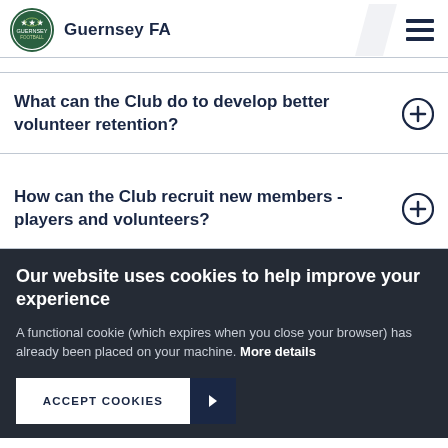Guernsey FA
What can the Club do to develop better volunteer retention?
How can the Club recruit new members - players and volunteers?
Our website uses cookies to help improve your experience
A functional cookie (which expires when you close your browser) has already been placed on your machine. More details
ACCEPT COOKIES